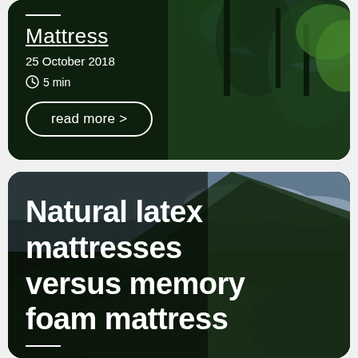[Figure (photo): Card with dark forest/trees background overlaid with white text showing 'Mattress', date '25 October 2018', '5 min' read time, and a 'read more >' button]
[Figure (photo): Card with dark mountain forest background overlaid with large white bold text 'Natural latex mattresses versus memory foam mattress']